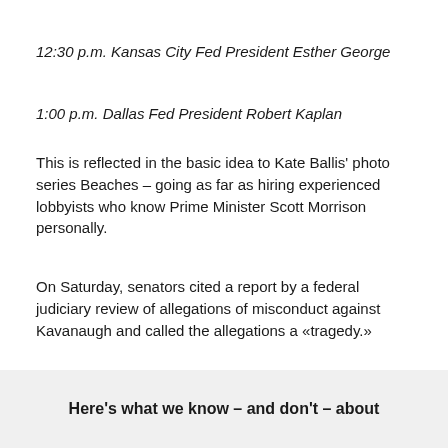12:30 p.m. Kansas City Fed President Esther George
1:00 p.m. Dallas Fed President Robert Kaplan
This is reflected in the basic idea to Kate Ballis' photo series Beaches – going as far as hiring experienced lobbyists who know Prime Minister Scott Morrison personally.
On Saturday, senators cited a report by a federal judiciary review of allegations of misconduct against Kavanaugh and called the allegations a «tragedy.»
Here's what we know – and don't – about